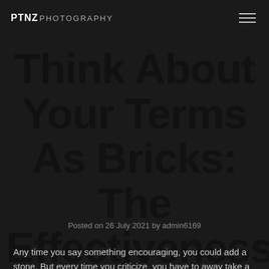PTNZ PHOTOGRAPHY
Think About Your Terms As Bricks: The Effectiveness Of Positive Communication In Wedding
Posted on 26 July 2021 by admin6169
Any time you say something encouraging, you could add a stone. But every time you criticize, you have to away take a brick. It take if